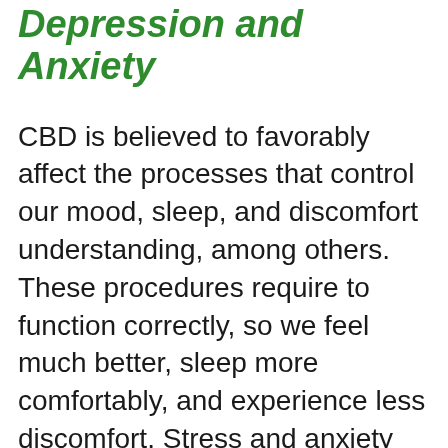Depression and Anxiety
CBD is believed to favorably affect the processes that control our mood, sleep, and discomfort understanding, among others. These procedures require to function correctly, so we feel much better, sleep more comfortably, and experience less discomfort. Stress and anxiety and anxiety are conditions related to poor sleep, pain, and poor mood regulation since the endocannabinoid system isn't working to the best of its capability. Professionals believe cautious CBD dosing may help temper anxiety-induced racing thoughts that can cause interfered with sleep as well as stressed awakenings.